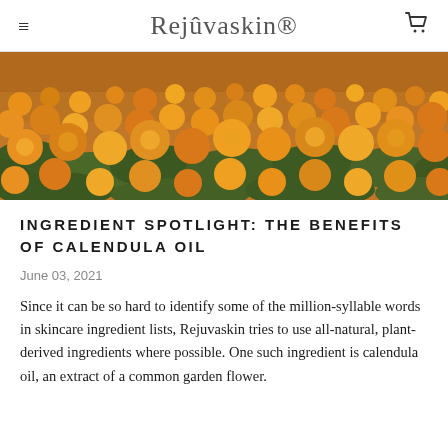Rejûvaskin
[Figure (photo): A field of bright orange and yellow calendula/marigold flowers with green foliage, photographed from a low angle showing dense blooms extending to the horizon.]
INGREDIENT SPOTLIGHT: THE BENEFITS OF CALENDULA OIL
June 03, 2021
Since it can be so hard to identify some of the million-syllable words in skincare ingredient lists, Rejuvaskin tries to use all-natural, plant-derived ingredients where possible. One such ingredient is calendula oil, an extract of a common garden flower.